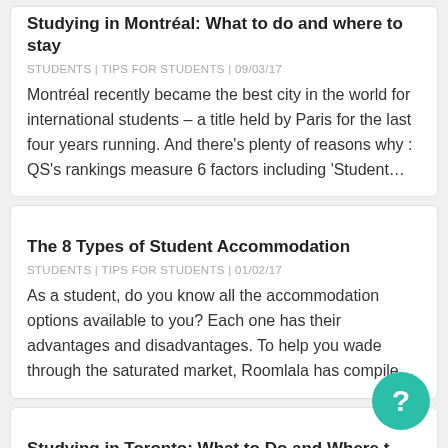Studying in Montréal: What to do and where to stay
STUDENTS | TIPS FOR STUDENTS | 09/03/17
Montréal recently became the best city in the world for international students – a title held by Paris for the last four years running. And there's plenty of reasons why : QS's rankings measure 6 factors including 'Student…
The 8 Types of Student Accommodation
STUDENTS | TIPS FOR STUDENTS | 01/02/17
As a student, do you know all the accommodation options available to you? Each one has their advantages and disadvantages. To help you wade through the saturated market, Roomlala has compile…
Studying in Toronto: What to Do and Where t…
STUDENTS | TIPS FOR STUDENTS | 13/12/16